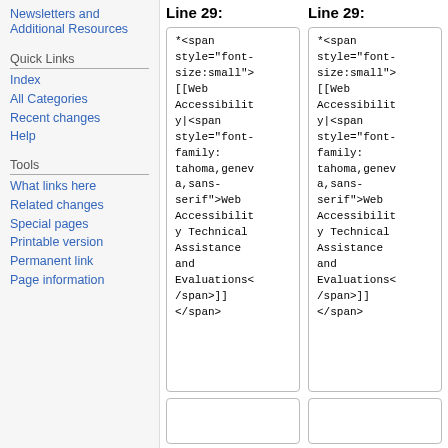Newsletters and Additional Resources
Quick Links
Index
All Categories
Recent changes
Help
Tools
What links here
Related changes
Special pages
Printable version
Permanent link
Page information
Line 29:
*<span style="font-size:small">[[Web Accessibility|<span style="font-family:tahoma,geneva,sans-serif">Web Accessibility Technical Assistance and Evaluations</span>]]</span>
Line 29:
*<span style="font-size:small">[[Web Accessibility|<span style="font-family:tahoma,geneva,sans-serif">Web Accessibility Technical Assistance and Evaluations</span>]]</span>